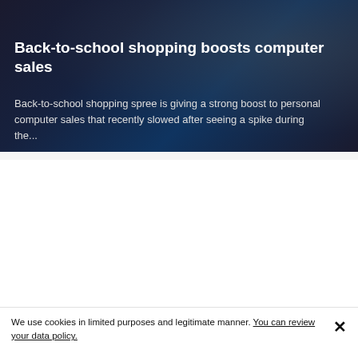[Figure (photo): Dark background photo, appears to show a computer or electronic device in low light]
Back-to-school shopping boosts computer sales
Back-to-school shopping spree is giving a strong boost to personal computer sales that recently slowed after seeing a spike during the...
[Figure (photo): Outdoor sports photo with a light blue sky background and some clouds at the bottom]
SPORTS
We use cookies in limited purposes and legitimate manner. You can review your data policy.